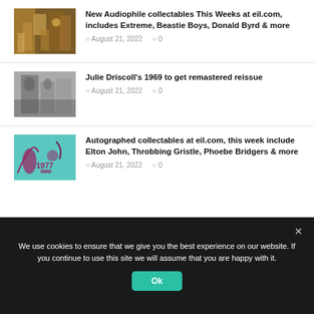[Figure (photo): Colorful audiophile collectables / record store display thumbnail]
New Audiophile collectables This Weeks at eil.com, includes Extreme, Beastie Boys, Donald Byrd & more
August 21, 2022   0
[Figure (photo): Black and white photo of Julie Driscoll performing]
Julie Driscoll's 1969 to get remastered reissue
August 21, 2022   0
[Figure (photo): Teal autographed collectables thumbnail with 1977 text]
Autographed collectables at eil.com, this week include Elton John, Throbbing Gristle, Phoebe Bridgers & more
August 21, 2022   0
We use cookies to ensure that we give you the best experience on our website. If you continue to use this site we will assume that you are happy with it.